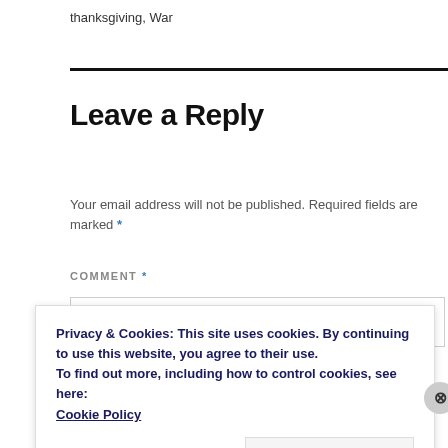thanksgiving, War
Leave a Reply
Your email address will not be published. Required fields are marked *
COMMENT *
Privacy & Cookies: This site uses cookies. By continuing to use this website, you agree to their use.
To find out more, including how to control cookies, see here:
Cookie Policy
Close and accept